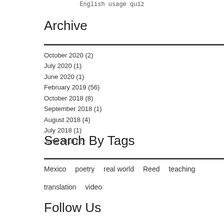English usage quiz
Archive
October 2020 (2)
July 2020 (1)
June 2020 (1)
February 2019 (56)
October 2018 (8)
September 2018 (1)
August 2018 (4)
July 2018 (1)
June 2018 (2)
Search By Tags
Mexico
poetry
real world
Reed
teaching
translation
video
Follow Us